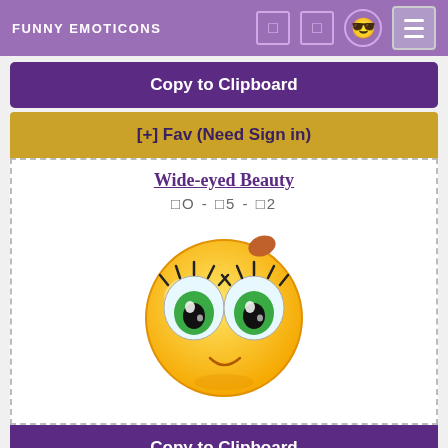FUNNY EMOTICONS
Copy to Clipboard
[+] Fav (Need Sign in)
Wide-eyed Beauty
□O - □5 - □2
[Figure (illustration): Wide-eyed Beauty emoticon — a round yellow smiley face with large green eyes, long eyelashes, and a small smile]
Copy to Clipboard
[+] Fav (Need Sign in)
Penning My Thoughts